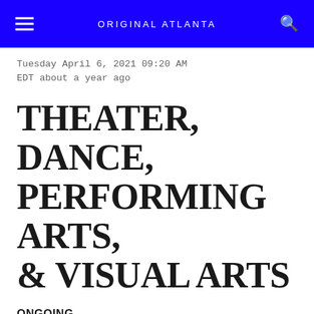ORIGINAL ATLANTA
Tuesday April 6, 2021 09:20 AM EDT about a year ago
THEATER, DANCE, PERFORMING ARTS, & VISUAL ARTS
ONGOING
Atlanta Contemporary At this year's Atlanta Biennial, curator Dr. Jordan Amirkhani